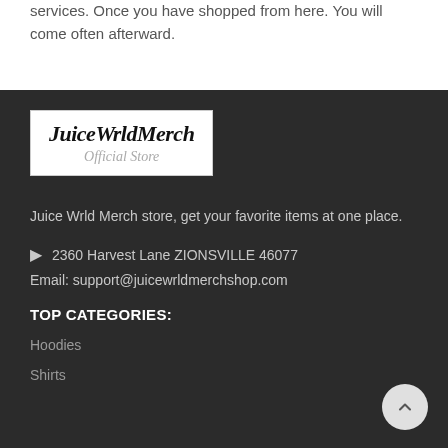services. Once you have shopped from here. You will come often afterward.
[Figure (logo): JuiceWrldMerch Official Store logo in black and white box]
Juice Wrld Merch store, get your favorite items at one place.
2360 Harvest Lane ZIONSVILLE 46077
Email: support@juicewrldmerchshop.com
TOP CATEGORIES:
Hoodies
Shirts